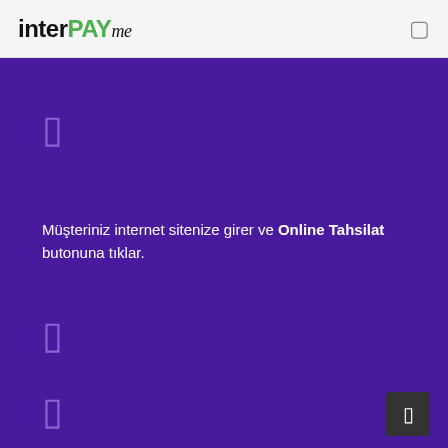interPAYme
[Figure (other): Icon placeholder on purple background (top)]
Müşteriniz internet sitenize girer ve Online Tahsilat butonuna tıklar.
[Figure (other): Icon placeholder on purple background (middle)]
[Figure (other): Icon placeholder on purple background (bottom left)]
[Figure (other): Navigation arrow button bottom right]